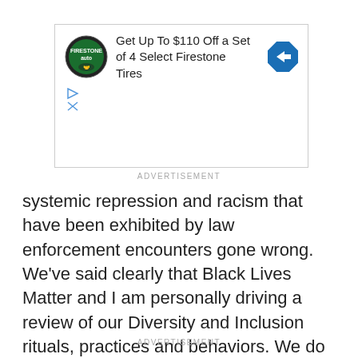[Figure (screenshot): Advertisement banner for Firestone Tires: 'Get Up To $110 Off a Set of 4 Select Firestone Tires' with Firestone Auto logo and blue direction sign icon, with play and close icons below.]
ADVERTISEMENT
systemic repression and racism that have been exhibited by law enforcement encounters gone wrong. We've said clearly that Black Lives Matter and I am personally driving a review of our Diversity and Inclusion rituals, practices and behaviors. We do believe strongly that more transparency and accountability is required in police operations.
ADVERTISEMENT